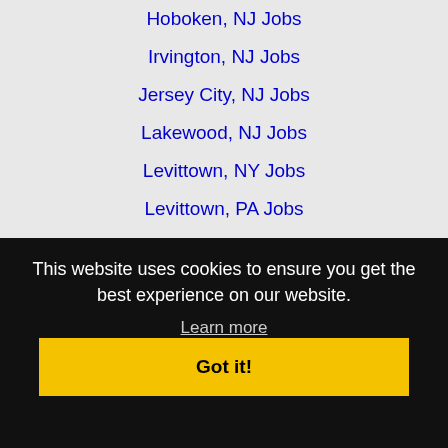Hoboken, NJ Jobs
Irvington, NJ Jobs
Jersey City, NJ Jobs
Lakewood, NJ Jobs
Levittown, NY Jobs
Levittown, PA Jobs
Lower Merion, PA Jobs
Meriden, CT Jobs
Milford, CT Jobs
Mount Vernon, NY Jobs
This website uses cookies to ensure you get the best experience on our website.
Learn more
Got it!
Parsippany-Troy Hills Township, NJ Jobs